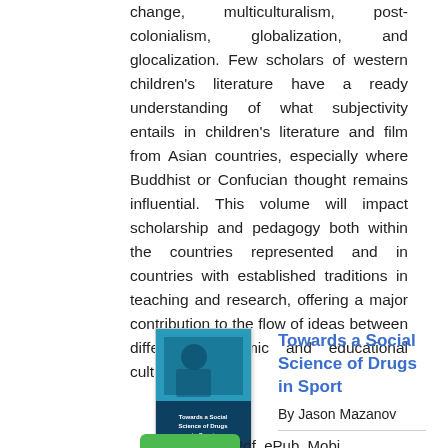change, multiculturalism, post-colonialism, globalization, and glocalization. Few scholars of western children's literature have a ready understanding of what subjectivity entails in children's literature and film from Asian countries, especially where Buddhist or Confucian thought remains influential. This volume will impact scholarship and pedagogy both within the countries represented and in countries with established traditions in teaching and research, offering a major contribution to the flow of ideas between different academic and educational cultures.
[Figure (illustration): Book cover thumbnail for 'Towards a Social Science of Drugs in Sport']
Towards a Social Science of Drugs in Sport
By Jason Mazanov
File : Pdf, ePub, Mobi